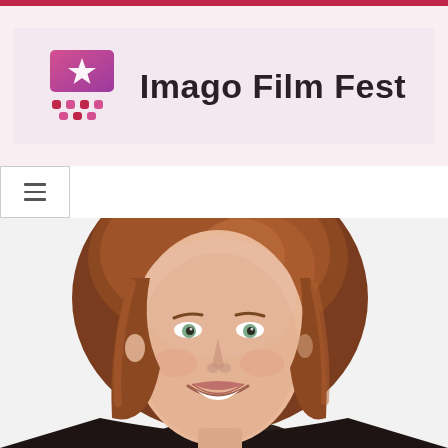Imago Film Fest
[Figure (photo): Close-up portrait of a smiling woman with shoulder-length auburn/reddish-brown hair, light eyes, wearing a dark jacket, photographed against a light background.]